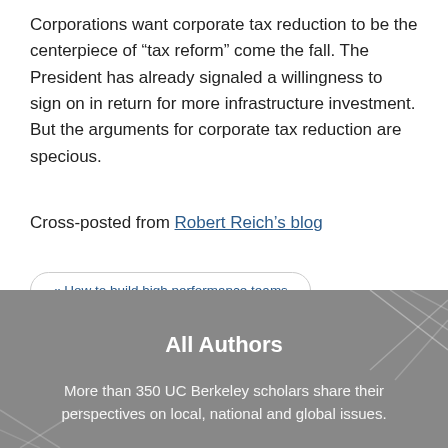Corporations want corporate tax reduction to be the centerpiece of “tax reform” come the fall. The President has already signaled a willingness to sign on in return for more infrastructure investment. But the arguments for corporate tax reduction are specious.
Cross-posted from Robert Reich’s blog
« How to build high performance teams
Trayvon Martin: A fair trial in the face of segregation? »
All Authors
More than 350 UC Berkeley scholars share their perspectives on local, national and global issues.